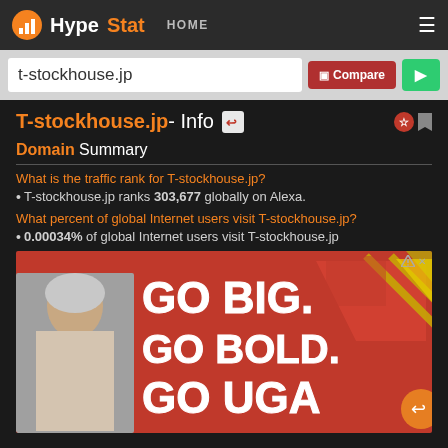HypeStat HOME
t-stockhouse.jp
T-stockhouse.jp - Info
Domain Summary
What is the traffic rank for T-stockhouse.jp?
T-stockhouse.jp ranks 303,677 globally on Alexa.
What percent of global Internet users visit T-stockhouse.jp?
0.00034% of global Internet users visit T-stockhouse.jp
[Figure (photo): Advertisement banner with red background showing 'GO BIG. GO BOLD. GO UGA' text with white outlines and yellow/green arrow decorations, featuring a woman on the left side.]